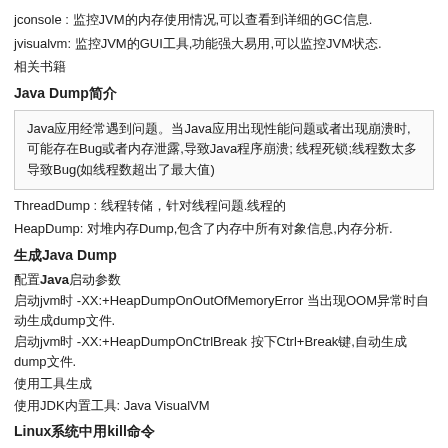jconsole : 监控JVM的内存使用情况,可以查看到详细的GC信息.
jvisualvm: 监控JVM的GUI工具,功能强大易用,可以监控JVM状态.
相关书籍
Java Dump简介
Java应用经常遇到问题。当Java应用出现性能问题或者出现崩溃时, 可能存在Bug或者内存泄露,导致Java程序崩溃; 线程死锁;线程数太多导致Bug(如线程数超出了最大值)
ThreadDump : 线程转储，针对线程问题.线程的
HeapDump: 对堆内存Dump,包含了内存中所有对象信息,内存分析.
生成Java Dump
配置Java启动参数
启动jvm时 -XX:+HeapDumpOnOutOfMemoryError 当出现OOM异常时自动生成dump文件.
启动jvm时 -XX:+HeapDumpOnCtrlBreak 按下Ctrl+Break键,自动生成dump文件.
使用工具生成
使用JDK内置工具: Java VisualVM
Linux系统中用kill命令
Linux系统中用kill -3 向目标进程发送'终止'信号,即可生成dump文件.